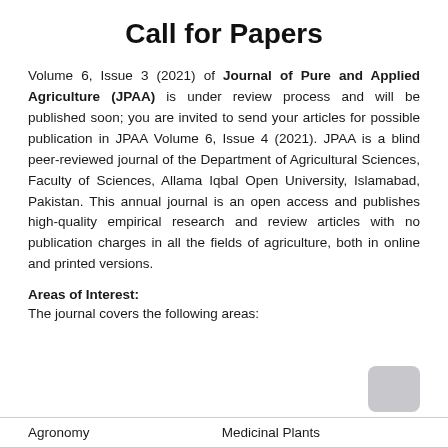Call for Papers
Volume 6, Issue 3 (2021) of Journal of Pure and Applied Agriculture (JPAA) is under review process and will be published soon; you are invited to send your articles for possible publication in JPAA Volume 6, Issue 4 (2021). JPAA is a blind peer-reviewed journal of the Department of Agricultural Sciences, Faculty of Sciences, Allama Iqbal Open University, Islamabad, Pakistan. This annual journal is an open access and publishes high-quality empirical research and review articles with no publication charges in all the fields of agriculture, both in online and printed versions.
Areas of Interest:
The journal covers the following areas:
| Agronomy | Medicinal Plants |
| --- | --- |